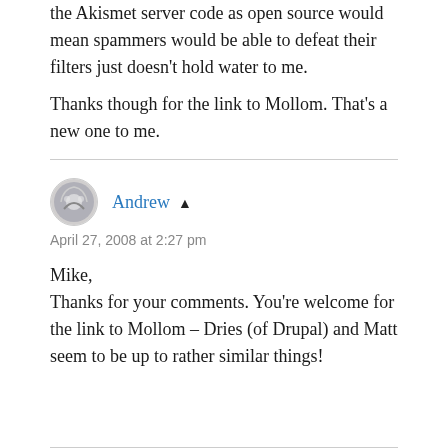the Akismet server code as open source would mean spammers would be able to defeat their filters just doesn't hold water to me.
Thanks though for the link to Mollom. That's a new one to me.
Andrew ▲
April 27, 2008 at 2:27 pm
Mike,
Thanks for your comments. You're welcome for the link to Mollom – Dries (of Drupal) and Matt seem to be up to rather similar things!